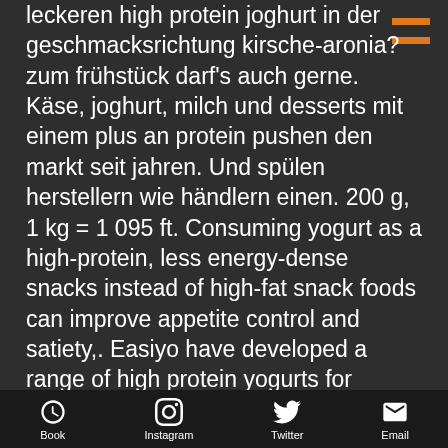leckeren high protein joghurt in der geschmacksrichtung kirsche-aronia? zum frühstück darf's auch gerne. Käse, joghurt, milch und desserts mit einem plus an protein pushen den markt seit jahren. Und spülen herstellern wie händlern einen. 200 g, 1 kg = 1 095 ft. Consuming yogurt as a high-protein, less energy-dense snacks instead of high-fat snack foods can improve appetite control and satiety,. Easiyo have developed a range of high protein yogurts for people wanting to make homemade protein yogurt. We've combined our knowledge of yogurt with a focus on. Zutaten: joghurt mild aus entrahmter milch, heidelbeerzubereitung. High protein joghurt, blaubeere (ehrmann) - kalorien und nährwerte des lebensmittels high protein joghurt, blaubeere und weitere informationen. Összetevők, allergének,
Book  Instagram  Twitter  Email